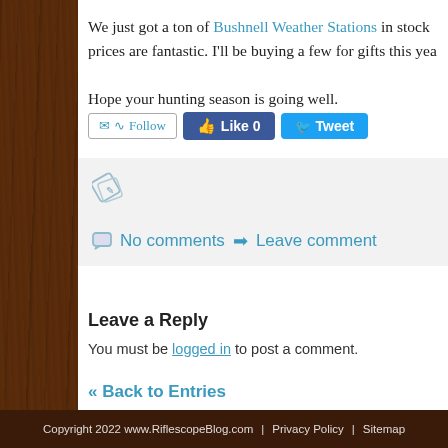We just got a ton of Bushnell Weather Stations in stock prices are fantastic. I'll be buying a few for gifts this year.
Hope your hunting season is going well.
[Figure (screenshot): Follow button with email and RSS icons, Facebook Like button showing 0 likes, Twitter Tweet button]
[Figure (screenshot): Tag icon in grey comment section box]
No comments ➡ Leave comment
Leave a Reply
You must be logged in to post a comment.
« Back to Entries
Copyright 2022 www.RiflescopeBlog.com | Privacy Policy | Sitemap